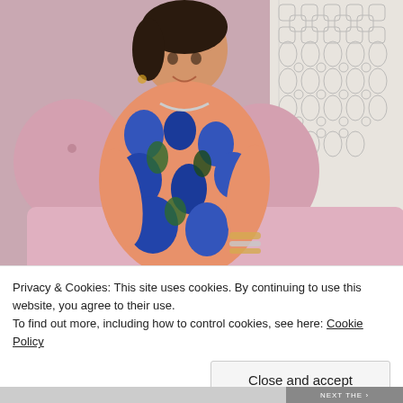[Figure (photo): A woman wearing a salmon/coral colored floral dress with large blue flowers sits on a pink tufted sofa. She has dark hair, wears a silver necklace and gold bracelets. The background shows a decorative patterned wallpaper on the right side.]
Privacy & Cookies: This site uses cookies. By continuing to use this website, you agree to their use.
To find out more, including how to control cookies, see here: Cookie Policy
Close and accept